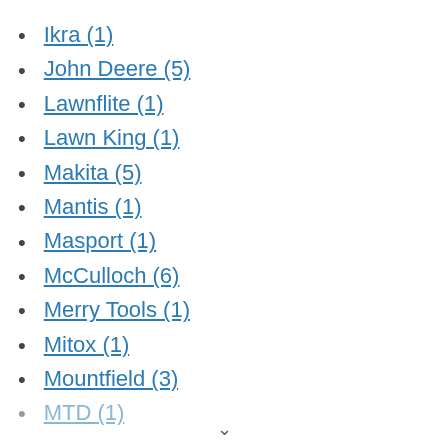Ikra (1)
John Deere (5)
Lawnflite (1)
Lawn King (1)
Makita (5)
Mantis (1)
Masport (1)
McCulloch (6)
Merry Tools (1)
Mitox (1)
Mountfield (3)
MTD (1)
∨